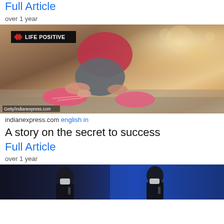Full Article
over 1 year
[Figure (photo): Person crouching down tying pink running shoes on a road, wearing red top and grey shorts. Life Positive badge overlay in top-left. Getty/indianexpress.com credit bottom-left.]
indianexpress.com english in
A story on the secret to success
Full Article
over 1 year
[Figure (photo): Two people wearing black masks speaking at a press conference in front of a blue illuminated background.]